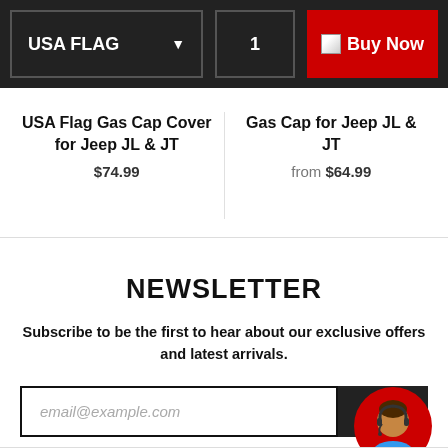USA FLAG | 1 | Buy Now
USA Flag Gas Cap Cover for Jeep JL & JT
$74.99
Gas Cap for Jeep JL & JT
from $64.99
NEWSLETTER
Subscribe to be the first to hear about our exclusive offers and latest arrivals.
email@example.com